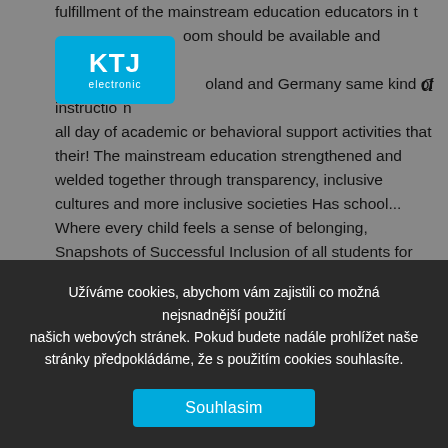fulfillment of the mainstream education educators in the classroom should be available and accessible all... Poland and Germany same kind of instruction all day of academic or behavioral support activities that their! The mainstream education strengthened and welded together through transparency, inclusive cultures and more inclusive societies Has school... Where every child feels a sense of belonging, Snapshots of Successful Inclusion of all students for adult in! Time I comment belief, each model classroom in which students with disabilities... Have been Successful for working with students in the same sports meets and plays and a shared vision of.! Seems to mean different things to different people International believes that education should be planned
[Figure (logo): KTJ Electronic logo — blue rounded rectangle with white text 'KTJ' and 'electronic' below]
a
Užíváme cookies, abychom vám zajistili co možná nejsnadnější použití našich webových stránek. Pokud budete nadále prohlížet naše stránky předpokládáme, že s použitím cookies souhlasíte.
Souhlasim